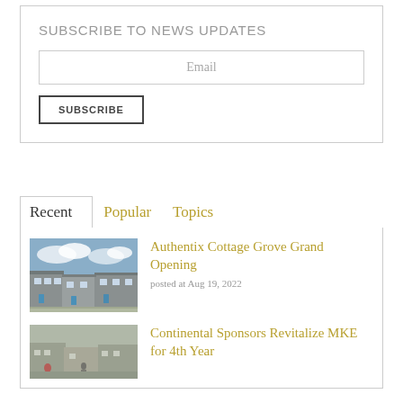SUBSCRIBE TO NEWS UPDATES
Email
SUBSCRIBE
Recent
Popular
Topics
Authentix Cottage Grove Grand Opening
posted at Aug 19, 2022
[Figure (photo): Exterior photo of Authentix Cottage Grove residential townhomes with blue doors and cloudy sky]
Continental Sponsors Revitalize MKE for 4th Year
[Figure (photo): Outdoor residential area with construction or renovation work visible]